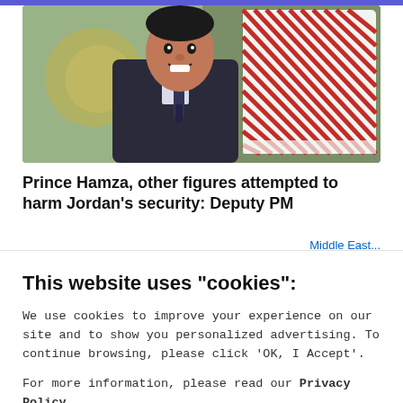[Figure (photo): Photo of Prince Hamza wearing a suit and keffiyeh headdress in red and white check pattern, with a flag or decorative background behind him]
Prince Hamza, other figures attempted to harm Jordan's security: Deputy PM
Middle East...
This website uses "cookies":
We use cookies to improve your experience on our site and to show you personalized advertising. To continue browsing, please click 'OK, I Accept'.
For more information, please read our Privacy Policy